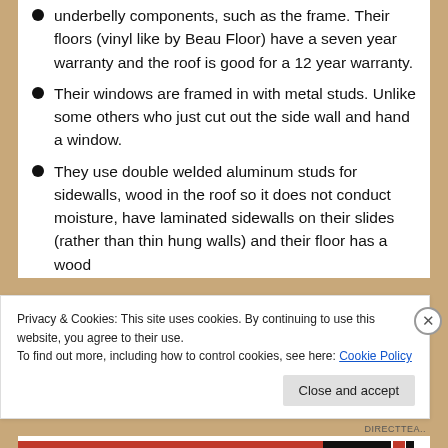underbelly components, such as the frame. Their floors (vinyl like by Beau Floor) have a seven year warranty and the roof is good for a 12 year warranty.
Their windows are framed in with metal studs. Unlike some others who just cut out the side wall and hand a window.
They use double welded aluminum studs for sidewalls, wood in the roof so it does not conduct moisture, have laminated sidewalls on their slides (rather than thin hung walls) and their floor has a wood
Privacy & Cookies: This site uses cookies. By continuing to use this website, you agree to their use.
To find out more, including how to control cookies, see here: Cookie Policy